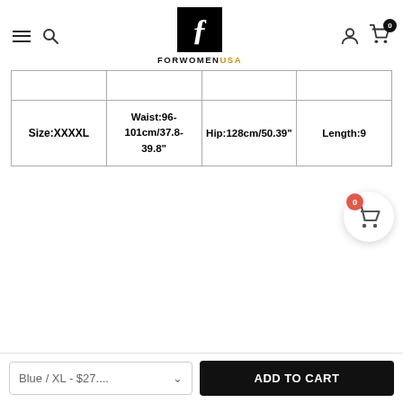FORWOMENUSA - navigation header with hamburger, search, logo, user and cart icons
|  | Waist | Hip | Length |
| --- | --- | --- | --- |
|  |  |  |  |
| Size:XXXXL | Waist:96-101cm/37.8-39.8" | Hip:128cm/50.39" | Length:9 |
[Figure (other): Floating cart button with red badge showing 0]
Blue / XL - $27.... ADD TO CART